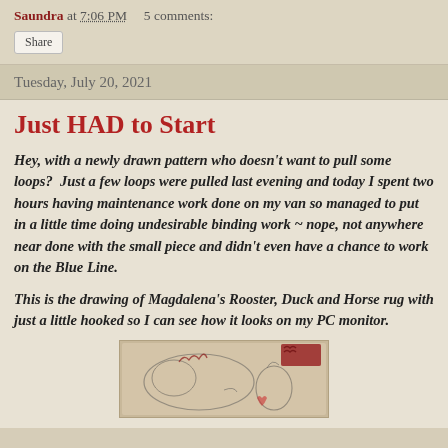Saundra at 7:06 PM    5 comments:
Share
Tuesday, July 20, 2021
Just HAD to Start
Hey, with a newly drawn pattern who doesn't want to pull some loops?  Just a few loops were pulled last evening and today I spent two hours having maintenance work done on my van so managed to put in a little time doing undesirable binding work ~ nope, not anywhere near done with the small piece and didn't even have a chance to work on the Blue Line.
This is the drawing of Magdalena's Rooster, Duck and Horse rug with just a little hooked so I can see how it looks on my PC monitor.
[Figure (photo): A partially hooked rug showing the drawing of Magdalena's Rooster, Duck and Horse pattern with some hooking begun at the edge.]